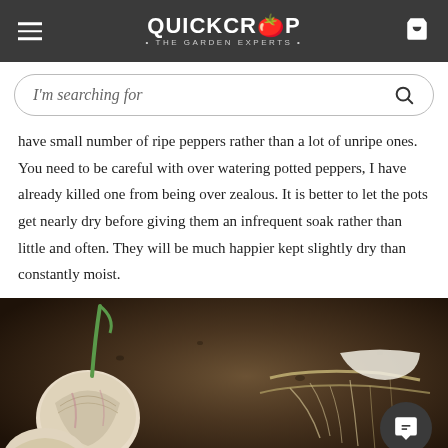QUICKCROP • THE GARDEN EXPERTS •
I'm searching for
have small number of ripe peppers rather than a lot of unripe ones. You need to be careful with over watering potted peppers, I have already killed one from being over zealous. It is better to let the pots get nearly dry before giving them an infrequent soak rather than little and often. They will be much happier kept slightly dry than constantly moist.
[Figure (photo): Photo of garlic bulbs on dark soil, showing harvested garlic heads with roots and green shoots.]